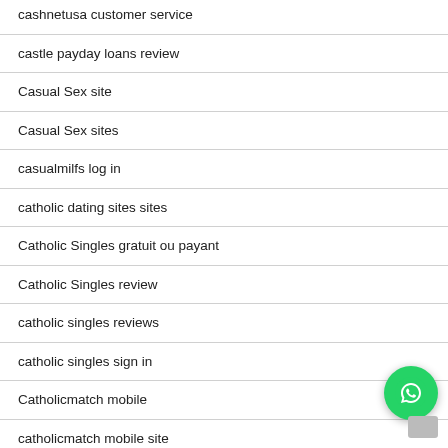cashnetusa customer service
castle payday loans review
Casual Sex site
Casual Sex sites
casualmilfs log in
catholic dating sites sites
Catholic Singles gratuit ou payant
Catholic Singles review
catholic singles reviews
catholic singles sign in
Catholicmatch mobile
catholicmatch mobile site
catholicmatch payant